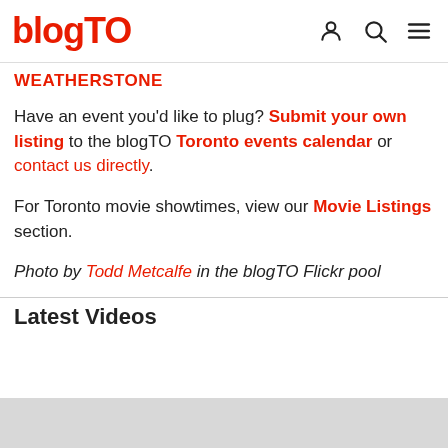blogTO
WEATHERSTONE
Have an event you'd like to plug? Submit your own listing to the blogTO Toronto events calendar or contact us directly.
For Toronto movie showtimes, view our Movie Listings section.
Photo by Todd Metcalfe in the blogTO Flickr pool
Latest Videos